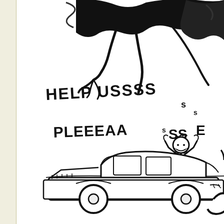[Figure (illustration): Black and white hand-drawn comic panel. Top portion shows a large dark creature or monster with clawed limbs looming over the scene. In the middle, handwritten text reads 'HELP USSSS s' and below that 'PLEEEAASS E s' (letters trailing off). A stick-figure person with arms raised stands on top of a car, apparently calling for help. At the bottom is a large car (limousine or sedan) drawn in simple line art style. The left side of the image has a beige/cream margin strip.]